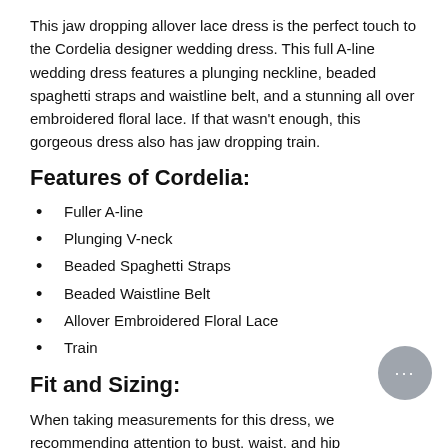This jaw dropping allover lace dress is the perfect touch to the Cordelia designer wedding dress. This full A-line wedding dress features a plunging neckline, beaded spaghetti straps and waistline belt, and a stunning all over embroidered floral lace. If that wasn't enough, this gorgeous dress also has jaw dropping train.
Features of Cordelia:
Fuller A-line
Plunging V-neck
Beaded Spaghetti Straps
Beaded Waistline Belt
Allover Embroidered Floral Lace
Train
Fit and Sizing:
When taking measurements for this dress, we recommend paying attention to bust, waist, and hip measurements.
This dress runs one or to two sizes smaller than your normal dress